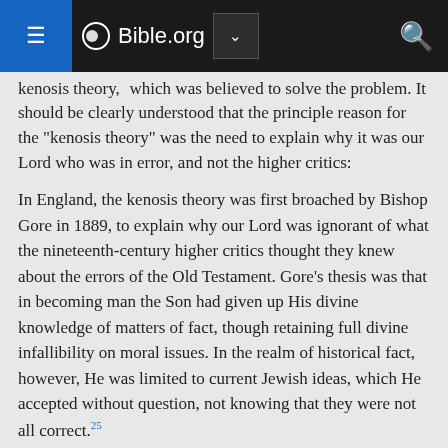Bible.org
kenosis theory,  which was believed to solve the problem. It should be clearly understood that the principle reason for the "kenosis theory" was the need to explain why it was our Lord who was in error, and not the higher critics:
In England, the kenosis theory was first broached by Bishop Gore in 1889, to explain why our Lord was ignorant of what the nineteenth-century higher critics thought they knew about the errors of the Old Testament. Gore's thesis was that in becoming man the Son had given up His divine knowledge of matters of fact, though retaining full divine infallibility on moral issues. In the realm of historical fact, however, He was limited to current Jewish ideas, which He accepted without question, not knowing that they were not all correct.25